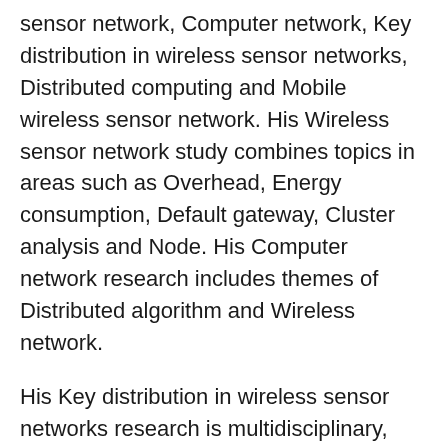sensor network, Computer network, Key distribution in wireless sensor networks, Distributed computing and Mobile wireless sensor network. His Wireless sensor network study combines topics in areas such as Overhead, Energy consumption, Default gateway, Cluster analysis and Node. His Computer network research includes themes of Distributed algorithm and Wireless network.
His Key distribution in wireless sensor networks research is multidisciplinary, incorporating perspectives in Network architecture and Protocol. The Distributed computing study combines topics in areas such as Key management, Algorithm and Wireless. The study incorporates disciplines such as Sensor node and Network management in addition to Mobile wireless sensor network.
His most cited work include: